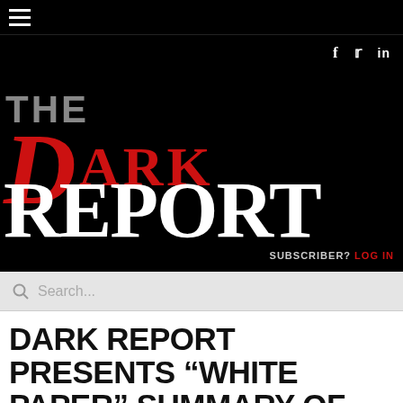≡ (hamburger menu)
f  𝕃  in (social icons)
[Figure (logo): The Dark Report logo: 'THE' in gray, large red italic 'D' with 'ARK' in red block letters, 'REPORT' in large white bold serif letters, all on black background]
SUBSCRIBER? LOG IN
Search...
DARK REPORT PRESENTS "WHITE PAPER" SUMMARY OF LABORATORY INDUSTRY